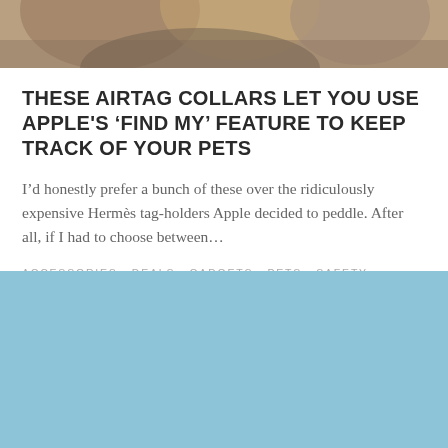[Figure (photo): Top portion of a dog photo, showing warm-toned fur, partially cropped]
THESE AIRTAG COLLARS LET YOU USE APPLE'S 'FIND MY' FEATURE TO KEEP TRACK OF YOUR PETS
I'd honestly prefer a bunch of these over the ridiculously expensive Hermès tag-holders Apple decided to peddle. After all, if I had to choose between...
ACCESSORIES, DEALS, GADGETS, PETS, SAFETY
[Figure (other): Light blue rectangular placeholder block at the bottom of the page]